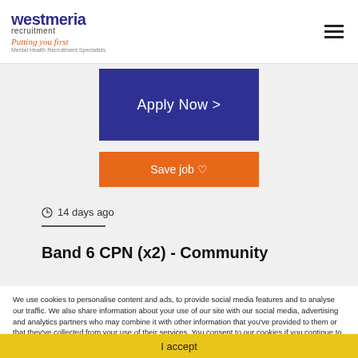Westmeria recruitment — Putting you first — Mental Health Recruitment Specialists
[Figure (other): Apply Now button — dark blue/navy rectangle with white text 'Apply Now >']
[Figure (other): Save job button — orange rectangle with white text 'Save job ♡']
14 days ago
Band 6 CPN (x2) - Community
We use cookies to personalise content and ads, to provide social media features and to analyse our traffic. We also share information about your use of our site with our social media, advertising and analytics partners who may combine it with other information that you've provided to them or that they've collected from your use of their services. You consent to our cookies if you continue to use our website. More
I accept